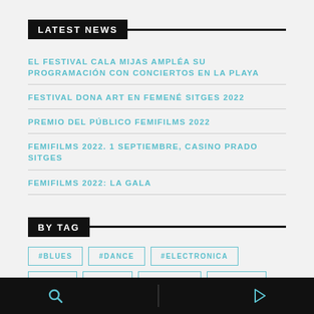LATEST NEWS
EL FESTIVAL CALA MIJAS AMPLÉA SU PROGRAMACIÓN CON CONCIERTOS EN LA PLAYA
FESTIVAL DONA ART EN FEMENÉ SITGES 2022
PREMIO DEL PÚBLICO FEMIFILMS 2022
FEMIFILMS 2022. 1 SEPTIEMBRE, CASINO PRADO SITGES
FEMIFILMS 2022: LA GALA
BY TAG
#BLUES
#DANCE
#ELECTRONICA
#FOLK
#FUNK
#GROOVE
#HIPHOP
#HIP HOP